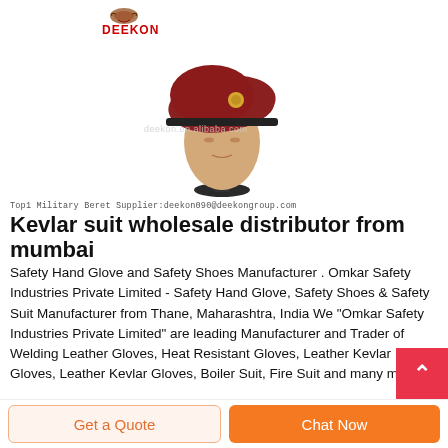[Figure (photo): Mannequin head wearing a dark red/maroon military beret with a small badge, displayed on a black stand. Watermark text 'deekon.en.alibaba.com' overlaid. DEEKON logo with eagle in top-left corner.]
Top1 Military Beret Supplier:deekon090@deekongroup.com
Kevlar suit wholesale distributor from mumbai
Safety Hand Glove and Safety Shoes Manufacturer . Omkar Safety Industries Private Limited - Safety Hand Glove, Safety Shoes & Safety Suit Manufacturer from Thane, Maharashtra, India We "Omkar Safety Industries Private Limited" are leading Manufacturer and Trader of Welding Leather Gloves, Heat Resistant Gloves, Leather Kevlar Gloves, Leather Kevlar Gloves, Boiler Suit, Fire Suit and many more.
Get a Quote
Chat Now